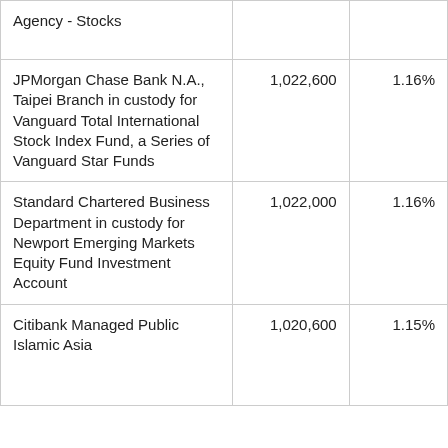| Agency - Stocks |  |  |
| JPMorgan Chase Bank N.A., Taipei Branch in custody for Vanguard Total International Stock Index Fund, a Series of Vanguard Star Funds | 1,022,600 | 1.16% |
| Standard Chartered Business Department in custody for Newport Emerging Markets Equity Fund Investment Account | 1,022,000 | 1.16% |
| Citibank Managed Public Islamic Asia | 1,020,600 | 1.15% |